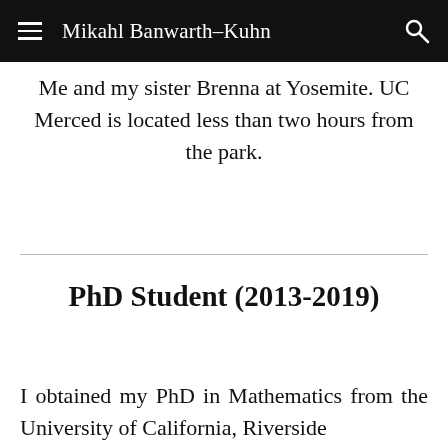Mikahl Banwarth-Kuhn
Me and my sister Brenna at Yosemite. UC Merced is located less than two hours from the park.
PhD Student (2013-2019)
I obtained my PhD in Mathematics from the University of California, Riverside